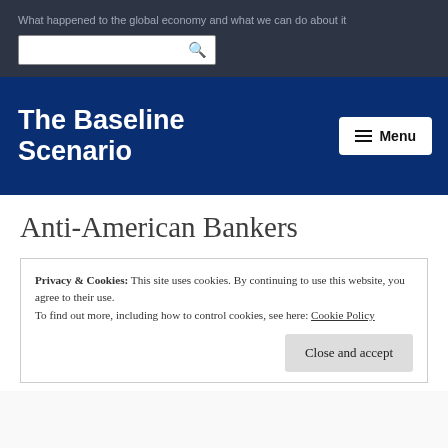What happened to the global economy and what we can do about it
The Baseline Scenario
Anti-American Bankers
Privacy & Cookies: This site uses cookies. By continuing to use this website, you agree to their use. To find out more, including how to control cookies, see here: Cookie Policy